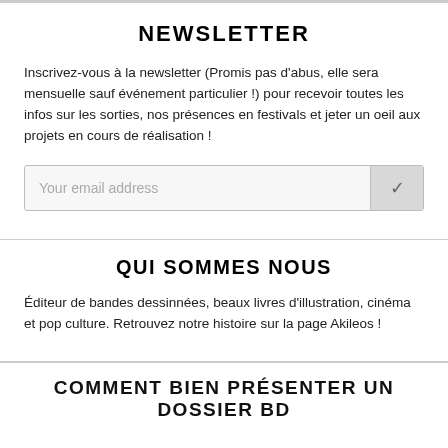NEWSLETTER
Inscrivez-vous à la newsletter (Promis pas d'abus, elle sera mensuelle sauf événement particulier !) pour recevoir toutes les infos sur les sorties, nos présences en festivals et jeter un oeil aux projets en cours de réalisation !
[Figure (other): Email subscription form with placeholder text 'Your email address' and a checkmark submit button]
QUI SOMMES NOUS
Éditeur de bandes dessinnées, beaux livres d'illustration, cinéma et pop culture. Retrouvez notre histoire sur la page Akileos !
COMMENT BIEN PRÉSENTER UN DOSSIER BD